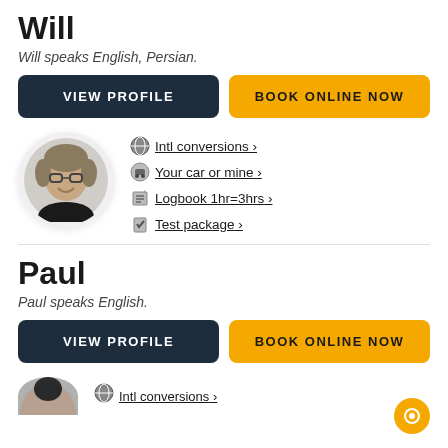Will
Will speaks English, Persian.
VIEW PROFILE
BOOK ONLINE NOW
[Figure (photo): Circular profile photo of a middle-aged man with glasses and curly grey/brown hair, smiling, wearing a black shirt.]
Intl conversions >
Your car or mine >
Logbook 1hr=3hrs >
Test package >
Paul
Paul speaks English.
VIEW PROFILE
BOOK ONLINE NOW
[Figure (photo): Partial circular profile photo at bottom of page, partially cut off.]
Intl conversions >